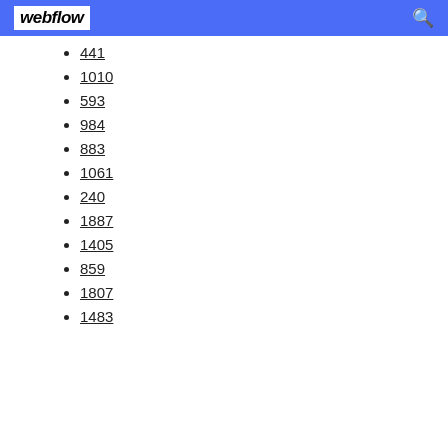webflow
441
1010
593
984
883
1061
240
1887
1405
859
1807
1483